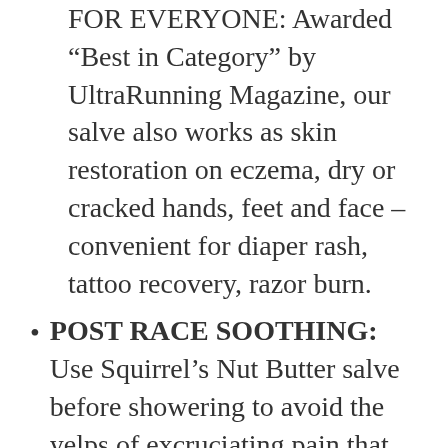FOR EVERYONE: Awarded “Best in Category” by UltraRunning Magazine, our salve also works as skin restoration on eczema, dry or cracked hands, feet and face – convenient for diaper rash, tattoo recovery, razor burn.
POST RACE SOOTHING: Use Squirrel’s Nut Butter salve before showering to avoid the yelps of excruciating pain that come with irritated skin and post run showers – heal quicker with the hydrating and restorative effects of our